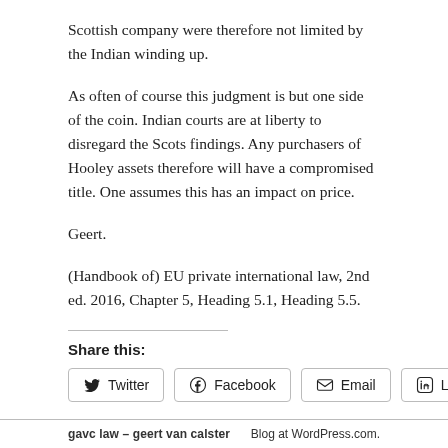Scottish company were therefore not limited by the Indian winding up.
As often of course this judgment is but one side of the coin. Indian courts are at liberty to disregard the Scots findings. Any purchasers of Hooley assets therefore will have a compromised title. One assumes this has an impact on price.
Geert.
(Handbook of) EU private international law, 2nd ed. 2016, Chapter 5, Heading 5.1, Heading 5.5.
Share this:
Twitter | Facebook | Email | LinkedIn
gavclaw – geert van calster    Blog at WordPress.com.